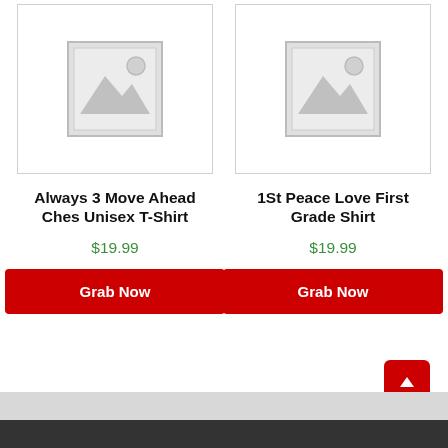[Figure (photo): Placeholder image for Always 3 Move Ahead Ches Unisex T-Shirt product listing]
[Figure (photo): Placeholder image for 1St Peace Love First Grade Shirt product listing]
Always 3 Move Ahead Ches Unisex T-Shirt
$19.99
1St Peace Love First Grade Shirt
$19.99